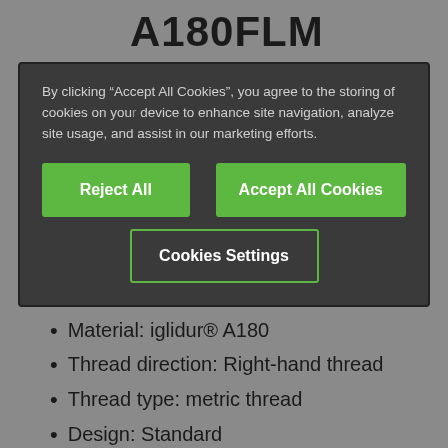A180FLM
By clicking “Accept All Cookies”, you agree to the storing of cookies on your device to enhance site navigation, analyze site usage, and assist in our marketing efforts.
Material: iglidur® A180
Thread direction: Right-hand thread
Thread type: metric thread
Design: Standard
Cylindrical lead screw nut with flange